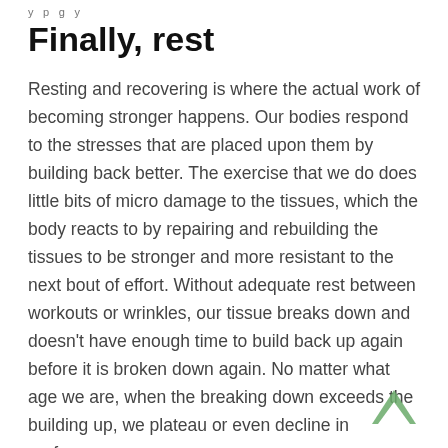y p g y
Finally, rest
Resting and recovering is where the actual work of becoming stronger happens. Our bodies respond to the stresses that are placed upon them by building back better. The exercise that we do does little bits of micro damage to the tissues, which the body reacts to by repairing and rebuilding the tissues to be stronger and more resistant to the next bout of effort. Without adequate rest between workouts or wrinkles, our tissue breaks down and doesn’t have enough time to build back up again before it is broken down again. No matter what age we are, when the breaking down exceeds the building up, we plateau or even decline in performance.